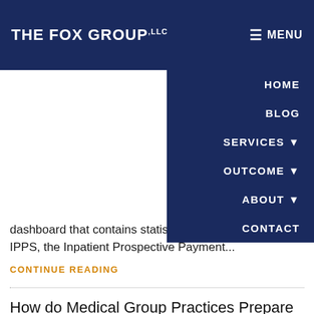THE FOX GROUP LLC  ☰ MENU
HOME
BLOG
SERVICES ▼
OUTCOME ▼
ABOUT ▼
CONTACT
dashboard that contains statistical views of data in the IPPS, the Inpatient Prospective Payment...
CONTINUE READING
How do Medical Group Practices Prepare for Health Insurance Reform?